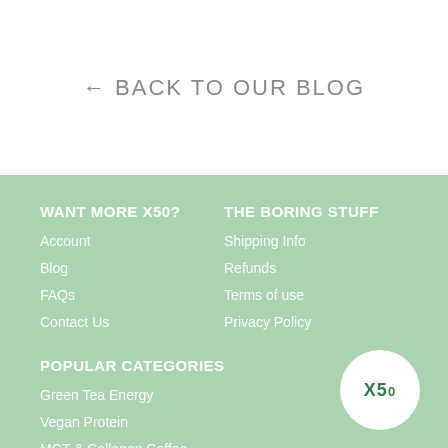← BACK TO OUR BLOG
WANT MORE X50?
Account
Blog
FAQs
Contact Us
THE BORING STUFF
Shipping Info
Refunds
Terms of use
Privacy Policy
POPULAR CATEGORIES
Green Tea Energy
Vegan Protein
MCT & Collegen Coffee
Snacks
[Figure (logo): X50 logo in white circle on green background]